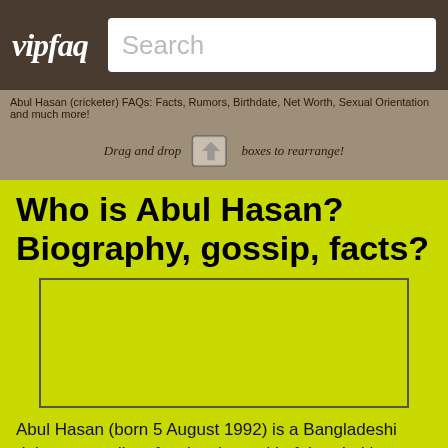vipfaq [logo] Search
Abul Hasan (cricketer) FAQs: Facts, Rumors, Birthdate, Net Worth, Sexual Orientation and much more!
Drag and drop boxes to rearrange!
Who is Abul Hasan? Biography, gossip, facts?
[Figure (other): Empty bordered box placeholder for image]
Abul Hasan (born 5 August 1992) is a Bangladeshi right-arm medium-fast bowler and Left handed lower order batsman. He plays first class cricket for Sylhet Division. He played in